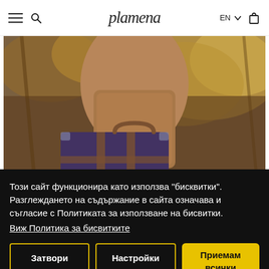Plamena – navigation header with hamburger, search, logo, language selector EN, cart icon
[Figure (photo): Person in a tan/brown fur coat holding a large vintage dark-purple suitcase with brown leather straps, standing outdoors among autumn trees]
Този сайт функционира като използва "бисквитки". Разглеждането на съдържание в сайта означава и съгласие с Политиката за използване на бисвитки.
Виж Политика за бисвитките
Затвори
Настройки
Приемам всички